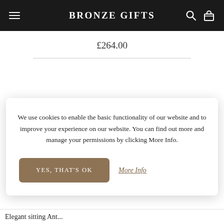Bronze Gifts
£264.00
We use cookies to enable the basic functionality of our website and to improve your experience on our website. You can find out more and manage your permissions by clicking More Info.
YES, THAT'S OK
More Info
Elegant sitting Ant...